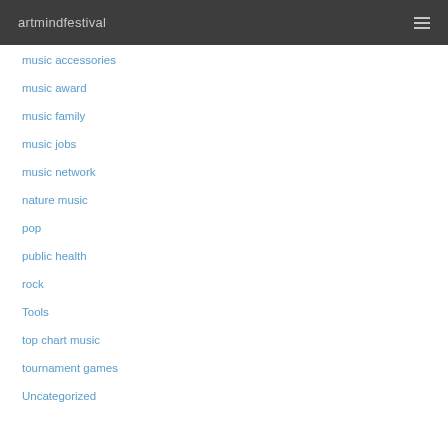artmindfestival
music accessories
music award
music family
music jobs
music network
nature music
pop
public health
rock
Tools
top chart music
tournament games
Uncategorized